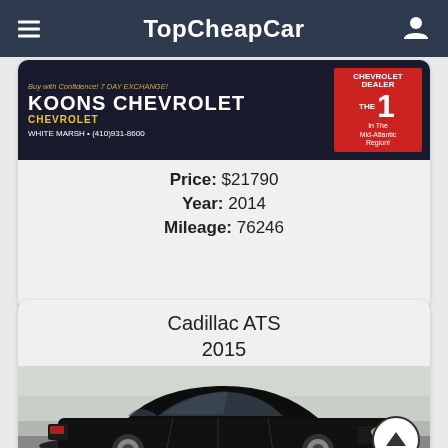TopCheapCar
[Figure (photo): Koons Chevrolet advertisement banner - #1 Chevrolet Dealer in the Mid-Atlantic Region, White Marsh, (410)931-8600]
Price: $21790
Year: 2014
Mileage: 76246
Cadillac ATS
2015
[Figure (photo): Black Cadillac ATS 2015 sedan at a dealership showroom]